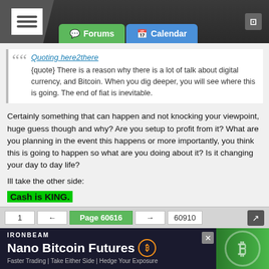Forums | Calendar
Quoting here2there
{quote} There is a reason why there is a lot of talk about digital currency, and Bitcoin. When you dig deeper, you will see where this is going. The end of fiat is inevitable.
Certainly something that can happen and not knocking your viewpoint, huge guess though and why? Are you setup to profit from it? What are you planning in the event this happens or more importantly, you think this is going to happen so what are you doing about it? Is it changing your day to day life?

Ill take the other side:
Cash is KING.
Yes, there is talk about a US Central bank digital currency (CBDC) and then you have others that will become more acceptable once a CBDC is in place or perhaps not, I can see a case where its the CBDC from a digital perspective and thats it on a large scale, you may still have the "other digital currencies" but they may not be as widely accepted as one might think or want.
1 ← Page 60616 → 60910
[Figure (screenshot): IRONBEAM advertisement: Nano Bitcoin Futures - Faster Trading | Take Either Side | Hedge Your Exposure]